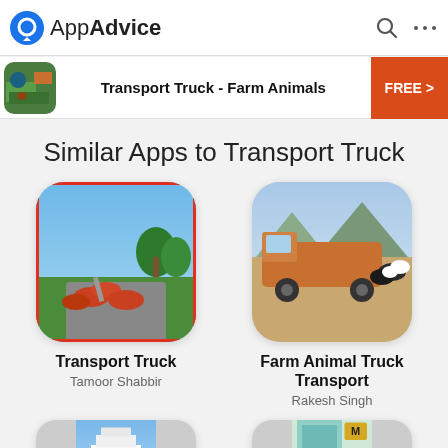AppAdvice
[Figure (screenshot): AppAdvice website screenshot showing 'Similar Apps to Transport Truck' page with Transport Truck - Farm Animals banner and app grid]
Similar Apps to Transport Truck
Transport Truck
Tamoor Shabbir
Farm Animal Truck Transport
Rakesh Singh